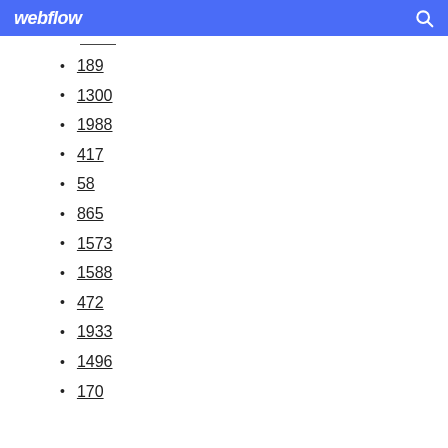webflow
189
1300
1988
417
58
865
1573
1588
472
1933
1496
170